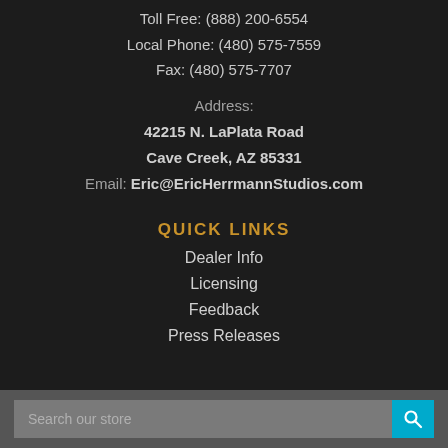Toll Free: (888) 200-6554
Local Phone: (480) 575-7559
Fax: (480) 575-7707
Address:
42215 N. LaPlata Road
Cave Creek, AZ 85331
Email: Eric@EricHerrmannStudios.com
QUICK LINKS
Dealer Info
Licensing
Feedback
Press Releases
Search our store